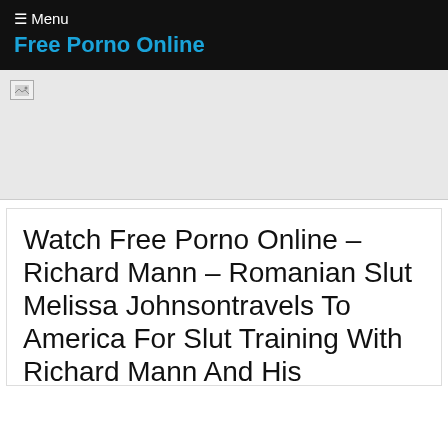☰ Menu
Free Porno Online
[Figure (other): Broken/unloaded advertisement banner image placeholder on gray background]
Watch Free Porno Online – Richard Mann – Romanian Slut Melissa Johnsontravels To America For Slut Training With Richard Mann And His Monstercock (MP4, FullHD, 1920×1080)